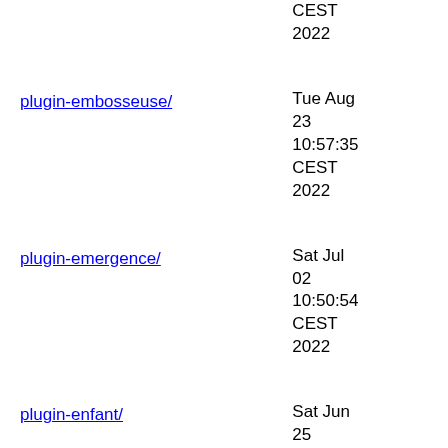CEST 2022
plugin-embosseuse/ — Tue Aug 23 10:57:35 CEST 2022
plugin-emergence/ — Sat Jul 02 10:50:54 CEST 2022
plugin-enfant/ — Sat Jun 25 06:24:25 CEST 2022
plugin-epetition/ — Sat Jul 02 10:52:26 CEST 2022